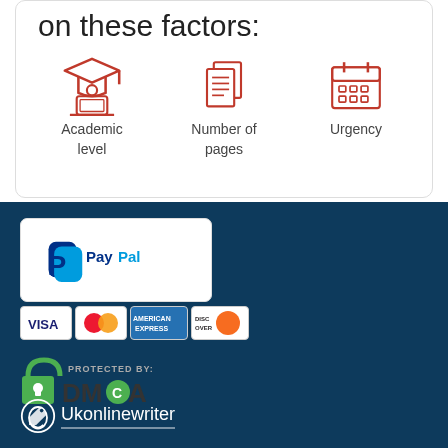on these factors:
[Figure (illustration): Three red icons: academic level (person with graduation cap at laptop), number of pages (stacked documents), urgency (calendar)]
Academic level
Number of pages
Urgency
[Figure (logo): PayPal logo in white box]
[Figure (logo): Payment card logos: VISA, Mastercard, American Express, Discover]
[Figure (logo): DMCA Protected By badge with green padlock icon]
[Figure (logo): Ukonlinewriter logo with pen icon]